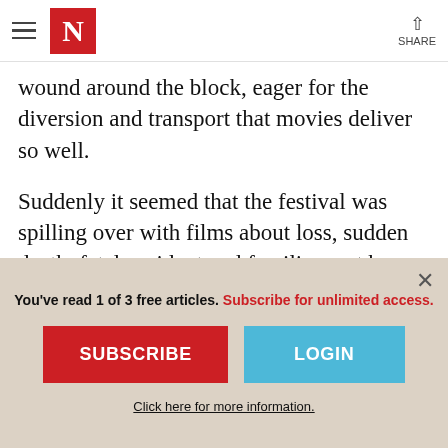The New Yorker — Navigation bar with hamburger menu, N logo, and Share button
wound around the block, eager for the diversion and transport that movies deliver so well.
Suddenly it seemed that the festival was spilling over with films about loss, sudden death, fatal accident and families rent by grief. There were so many I tired of counting (The Safety of Objects, by the way, is one).
You've read 1 of 3 free articles. Subscribe for unlimited access.
SUBSCRIBE
LOGIN
Click here for more information.